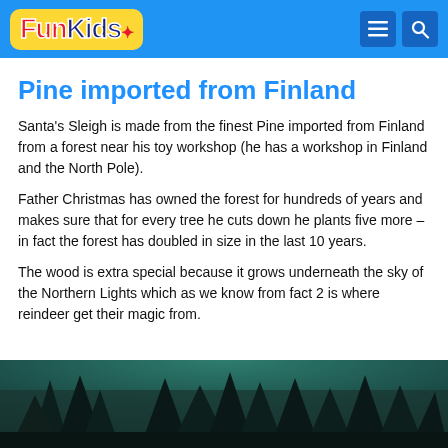Fun Kids
Pine imported from Finland
Santa's Sleigh is made from the finest Pine imported from Finland from a forest near his toy workshop (he has a workshop in Finland and the North Pole).
Father Christmas has owned the forest for hundreds of years and makes sure that for every tree he cuts down he plants five more – in fact the forest has doubled in size in the last 10 years.
The wood is extra special because it grows underneath the sky of the Northern Lights which as we know from fact 2 is where reindeer get their magic from.
[Figure (photo): Dark forest photo, trees visible against a teal/dark sky, viewed from below looking up.]